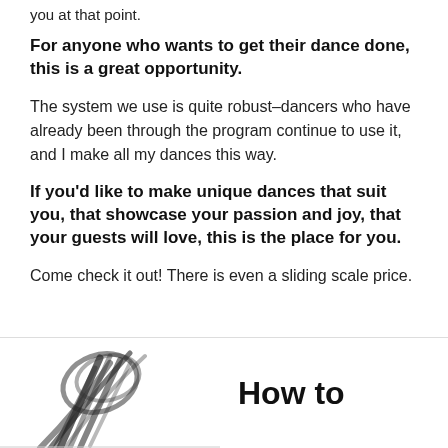you at that point.
For anyone who wants to get their dance done, this is a great opportunity.
The system we use is quite robust–dancers who have already been through the program continue to use it, and I make all my dances this way.
If you'd like to make unique dances that suit you, that showcase your passion and joy, that your guests will love, this is the place for you.
Come check it out! There is even a sliding scale price.
[Figure (illustration): Partial illustration of a dancer or dance movement, black ink sketch visible at bottom left of page]
How to